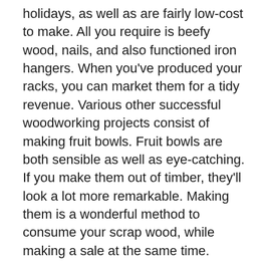holidays, as well as are fairly low-cost to make. All you require is beefy wood, nails, and also functioned iron hangers. When you've produced your racks, you can market them for a tidy revenue. Various other successful woodworking projects consist of making fruit bowls. Fruit bowls are both sensible as well as eye-catching. If you make them out of timber, they'll look a lot more remarkable. Making them is a wonderful method to consume your scrap wood, while making a sale at the same time.
Creative woodworking projects.
If you're a follower of craft beer, you can construct a wooden table or chair that can be used at your convenience. This option also